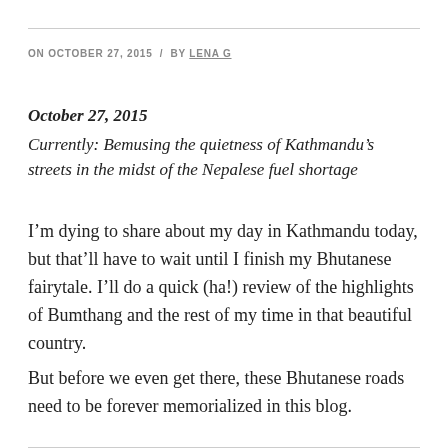ON OCTOBER 27, 2015 / BY LENA G
October 27, 2015
Currently: Bemusing the quietness of Kathmandu’s streets in the midst of the Nepalese fuel shortage
I’m dying to share about my day in Kathmandu today, but that’ll have to wait until I finish my Bhutanese fairytale. I’ll do a quick (ha!) review of the highlights of Bumthang and the rest of my time in that beautiful country.
But before we even get there, these Bhutanese roads need to be forever memorialized in this blog.